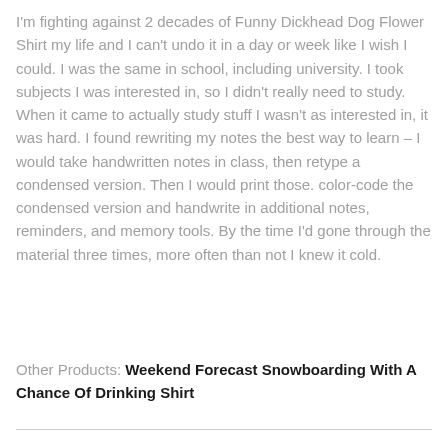I'm fighting against 2 decades of Funny Dickhead Dog Flower Shirt my life and I can't undo it in a day or week like I wish I could. I was the same in school, including university. I took subjects I was interested in, so I didn't really need to study. When it came to actually study stuff I wasn't as interested in, it was hard. I found rewriting my notes the best way to learn – I would take handwritten notes in class, then retype a condensed version. Then I would print those. color-code the condensed version and handwrite in additional notes, reminders, and memory tools. By the time I'd gone through the material three times, more often than not I knew it cold.
Other Products: Weekend Forecast Snowboarding With A Chance Of Drinking Shirt